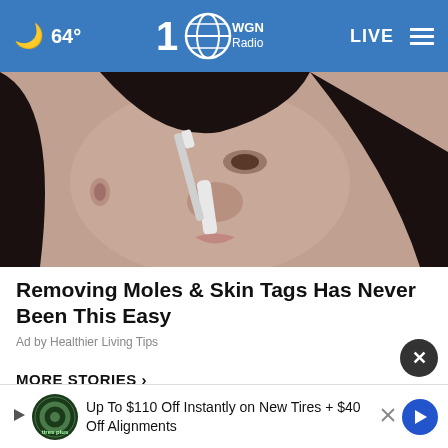🌙 64° WGN Radio LIVE
[Figure (photo): Woman applying something white to her nose with a brush, close-up beauty/skincare photo]
Removing Moles & Skin Tags Has Never Been This Easy
Ad by Healthier Living Tips
MORE STORIES ›
Area around Ukraine nuclear plant hit
[Figure (screenshot): Bottom advertisement banner: Up To $110 Off Instantly on New Tires + $40 Off Alignments with Tires Plus logo and navigation arrow icon]